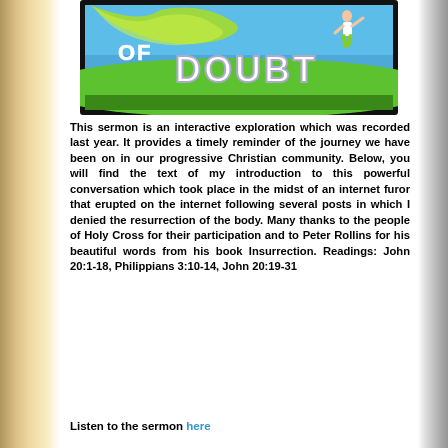[Figure (illustration): A sermon graphic showing 'OF DOUBT' text in white bold letters over a blue sky background with green grass and a person jumping with green fabric flying, framed in black border.]
This sermon is an interactive exploration which was recorded last year. It provides a timely reminder of the journey we have been on in our progressive Christian community. Below, you will find the text of my introduction to this powerful conversation which took place in the midst of an internet furor that erupted on the internet following several posts in which I denied the resurrection of the body. Many thanks to the people of Holy Cross for their participation and to Peter Rollins for his beautiful words from his book Insurrection. Readings: John 20:1-18, Philippians 3:10-14, John 20:19-31
Listen to the sermon here